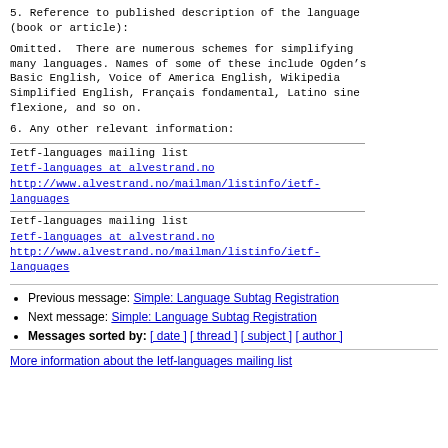5. Reference to published description of the language
(book or article):
Omitted.  There are numerous schemes for simplifying many languages. Names of some of these include Ogden’s Basic English, Voice of America English, Wikipedia Simplified English, Français fondamental, Latino sine flexione, and so on.
6. Any other relevant information:
Ietf-languages mailing list
Ietf-languages at alvestrand.no
http://www.alvestrand.no/mailman/listinfo/ietf-languages
Ietf-languages mailing list
Ietf-languages at alvestrand.no
http://www.alvestrand.no/mailman/listinfo/ietf-languages
Previous message: Simple: Language Subtag Registration
Next message: Simple: Language Subtag Registration
Messages sorted by: [ date ] [ thread ] [ subject ] [ author ]
More information about the Ietf-languages mailing list